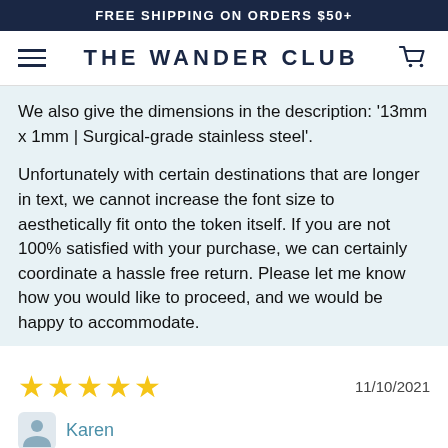FREE SHIPPING ON ORDERS $50+
THE WANDER CLUB
We also give the dimensions in the description: '13mm x 1mm | Surgical-grade stainless steel'.
Unfortunately with certain destinations that are longer in text, we cannot increase the font size to aesthetically fit onto the token itself. If you are not 100% satisfied with your purchase, we can certainly coordinate a hassle free return. Please let me know how you would like to proceed, and we would be happy to accommodate.
11/10/2021
Karen